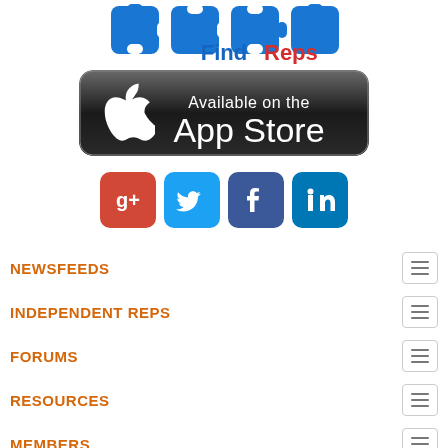[Figure (logo): FindReps logo with blue puzzle piece icons and 'FindReps' text in blue and red]
[Figure (logo): Available on the App Store badge — black rounded rectangle with Apple logo and text]
[Figure (infographic): Social media icons: Google+, Twitter, Facebook, LinkedIn]
NEWSFEEDS
INDEPENDENT REPS
FORUMS
RESOURCES
MEMBERS
ABOUT